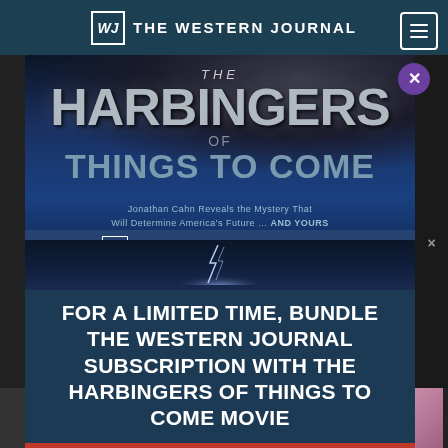THE WESTERN JOURNAL
[Figure (illustration): Movie poster for 'The Harbingers of Things to Come' — a dark cinematic image with smoke clouds and lightning. Text reads: THE / HARBINGERS / OF THINGS TO COME / Jonathan Cahn Reveals the Mystery That Will Determine America's Future ... AND YOURS / THE WESTERN JOURNAL logo. Below is a promotional modal with white bold text on dark blue background.]
FOR A LIMITED TIME, BUNDLE THE WESTERN JOURNAL SUBSCRIPTION WITH THE HARBINGERS OF THINGS TO COME MOVIE